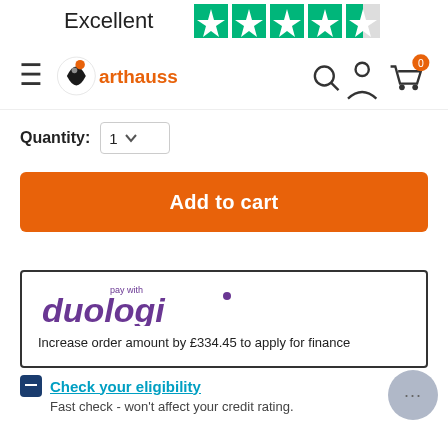[Figure (other): Trustpilot rating bar showing 'Excellent' text and 4.5 green stars]
[Figure (logo): Arthauss logo with navigation icons (hamburger menu, search, account, cart with 0)]
Quantity: 1 (dropdown)
[Figure (other): Orange 'Add to cart' button]
[Figure (logo): Duologi 'pay with' logo inside a bordered box with text: Increase order amount by £334.45 to apply for finance]
Increase order amount by £334.45 to apply for finance
Check your eligibility
Fast check - won't affect your credit rating.